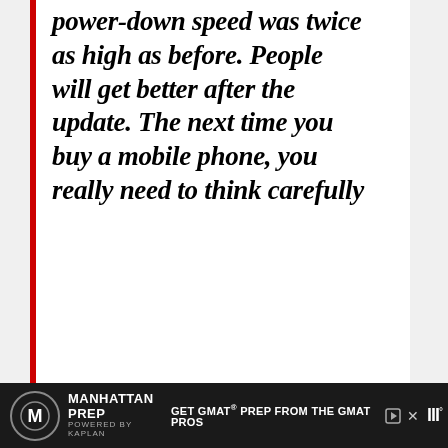power-down speed was twice as high as before. People will get better after the update. The next time you buy a mobile phone, you really need to think carefully
(Source)
[Figure (other): Red circular heart/like button with count of 1, and a share button below it]
MANHATTAN PREP POWERED BY KAPLAN — GET GMAT® PREP FROM THE GMAT PROS